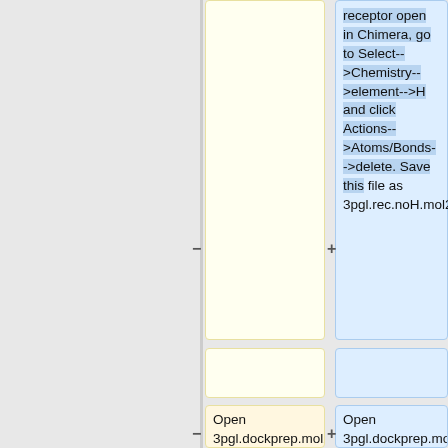file"
receptor open in Chimera, go to Select-->Chemistry-->element-->H and click Actions-->Atoms/Bonds-->delete. Save this file as 3pgl.rec.noH.mol2
Open 3pgl.dockprep.mol2 in chimera, using the same method delete the protein molecule. Save this as 3pgl.lig.mol2 in...
Open 3pgl.dockprep.mol2 in Chimera and select the receptor. Click Actions-->Atoms/Bonds-->delete to get rid of...